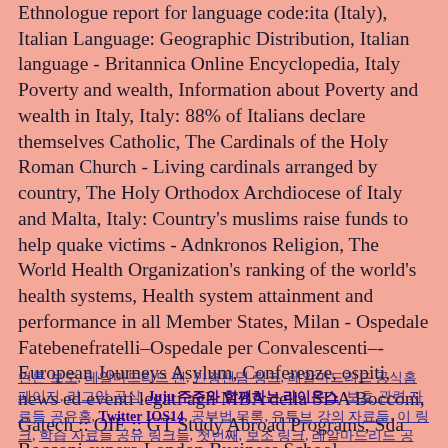Ethnologue report for language code:ita (Italy), Italian Language: Geographic Distribution, Italian language - Britannica Online Encyclopedia, Italy Poverty and wealth, Information about Poverty and wealth in Italy, Italy: 88% of Italians declare themselves Catholic, The Cardinals of the Holy Roman Church - Living cardinals arranged by country, The Holy Orthodox Archdiocese of Italy and Malta, Italy: Country's muslims raise funds to help quake victims - Adnkronos Religion, The World Health Organization's ranking of the world's health systems, Health system attainment and performance in all Member States, Milan - Ospedale Fatebenefratelli–Ospedale per Convalescenti–-European Journeys Asylum, Conferenze, ospiti, news ed eventi legati agli MBA della SDA Bocconi, Gatech :: OIE :: GT Study Abroad Programs, Sda Bocconi supera London Business School - ViviMilano, Università di Bologna–oldest university in the world–, Web worldwide: UK housewives love it, Chinese use it most, Danes are least keen, Our new digital friend?
Korean/Japanese/Chinese link text including: Twitter IOS14 and various Korean hyperlinks